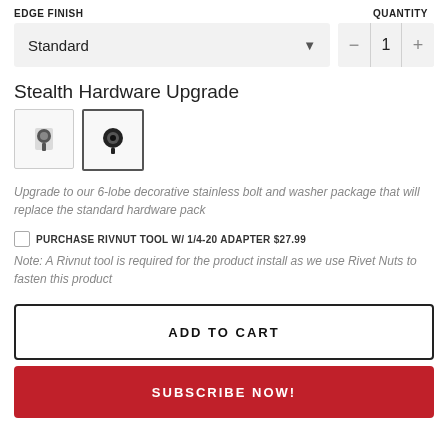EDGE FINISH
QUANTITY
Standard
1
Stealth Hardware Upgrade
[Figure (photo): Two thumbnail images of hardware bolts/washers for Stealth Hardware Upgrade]
Upgrade to our 6-lobe decorative stainless bolt and washer package that will replace the standard hardware pack
PURCHASE RIVNUT TOOL W/ 1/4-20 ADAPTER $27.99
Note: A Rivnut tool is required for the product install as we use Rivet Nuts to fasten this product
ADD TO CART
SUBSCRIBE NOW!